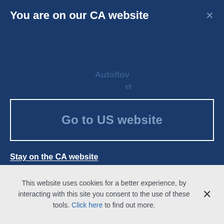You are on our CA website
Go to US website
Stay on the CA website
This website uses cookies for a better experience, by interacting with this site you consent to the use of these tools. Click here to find out more.